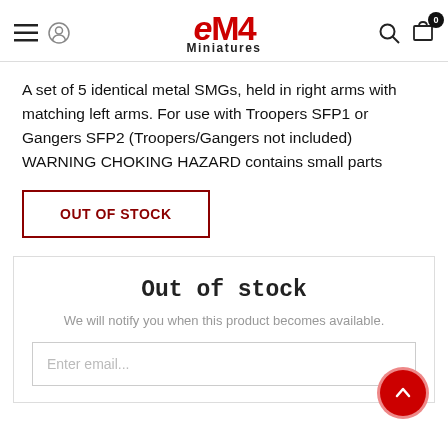eM4 Miniatures
A set of 5 identical metal SMGs, held in right arms with matching left arms. For use with Troopers SFP1 or Gangers SFP2 (Troopers/Gangers not included) WARNING CHOKING HAZARD contains small parts
OUT OF STOCK
Out of stock
We will notify you when this product becomes available.
Enter email...